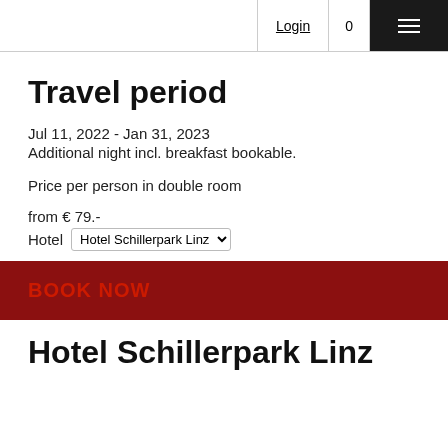Login  0
Travel period
Jul 11, 2022 - Jan 31, 2023
Additional night incl. breakfast bookable.
Price per person in double room
from € 79.-
Hotel  Hotel Schillerpark Linz
BOOK NOW
Hotel Schillerpark Linz